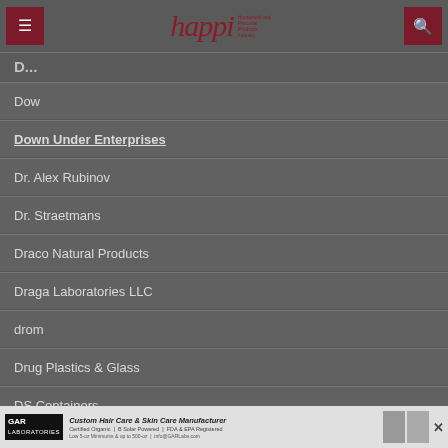happi — Household and Personal Products Industry
D...
Dow
Down Under Enterprises
Dr. Alex Rubinov
Dr. Straetmans
Draco Natural Products
Draga Laboratories LLC
drom
Drug Plastics & Glass
DS Containers
[Figure (infographic): GAR Laboratories advertisement banner: Custom Hair Care & Skin Care Manufacturer, Certified Organic, B Solar Powered, FDA & EPA Registered, Low 5-oz Minimums & up to 500-oz, info@GARLabs.com]